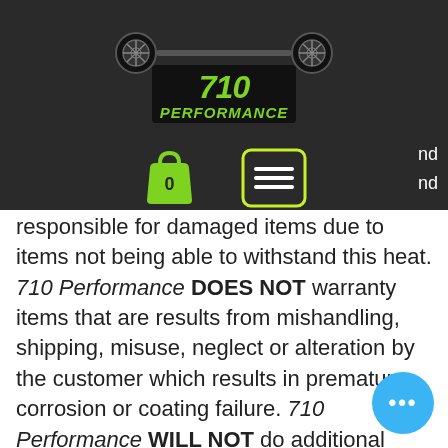[Figure (logo): 710 Performance logo with two wheels/tires on either end of an axle, with green stylized text '710 PERFORMANCE' in center, on dark background]
responsible for damaged items due to items not being able to withstand this heat. 710 Performance DOES NOT warranty items that are results from mishandling, shipping, misuse, neglect or alteration by the customer which results in premature corrosion or coating failure. 710 Performance WILL NOT do additional work unless there is a written or verbal agreement by the customer.